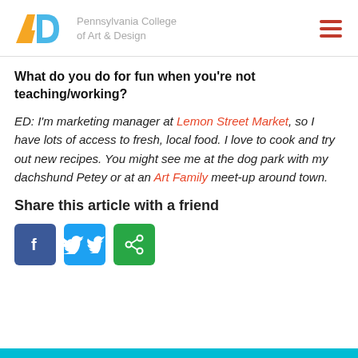Pennsylvania College of Art & Design
What do you do for fun when you’re not teaching/working?
ED: I’m marketing manager at Lemon Street Market, so I have lots of access to fresh, local food. I love to cook and try out new recipes. You might see me at the dog park with my dachshund Petey or at an Art Family meet-up around town.
Share this article with a friend
[Figure (other): Social share buttons: Facebook (blue), Twitter (light blue), Share (green)]